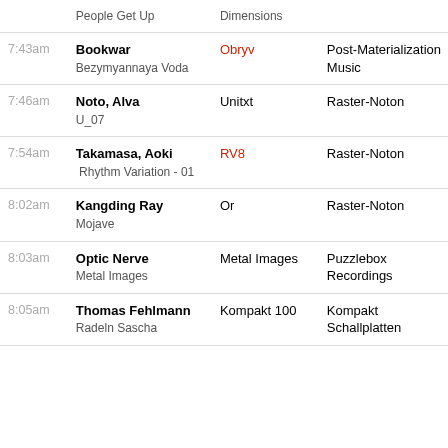| Time | Artist / Track | Album | Label |
| --- | --- | --- | --- |
|  | People Get Up | Dimensions |  |
| 7:43am | Bookwar
Bezymyannaya Voda | Obryv | Post-Materialization Music |
| 7:46am | Noto, Alva
U_07 | Unitxt | Raster-Noton |
| 7:54am | Takamasa, Aoki
Rhythm Variation - 01 | RV8 | Raster-Noton |
| 8:02am | Kangding Ray
Mojave | Or | Raster-Noton |
| 8:03am | Optic Nerve
Metal Images | Metal Images | Puzzlebox Recordings |
| 8:05am | Thomas Fehlmann
Radeln Sascha | Kompakt 100 | Kompakt Schallplatten |